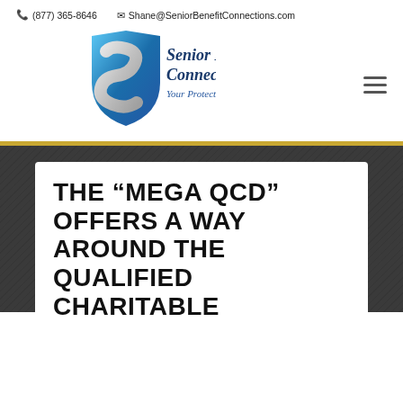📞 (877) 365-8646   ✉ Shane@SeniorBenefitConnections.com
[Figure (logo): Senior Benefit Connections logo with blue shield and italic text 'Senior Benefit Connections - Your Protection Connection']
THE “MEGA QCD” OFFERS A WAY AROUND THE QUALIFIED CHARITABLE